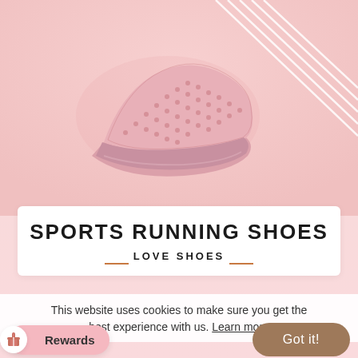[Figure (photo): Pink mesh sports running shoe floating/levitating against a pink gradient background with white diagonal decorative lines]
SPORTS RUNNING SHOES
LOVE SHOES
This website uses cookies to make sure you get the best experience with us. Learn more
Rewards
Got it!